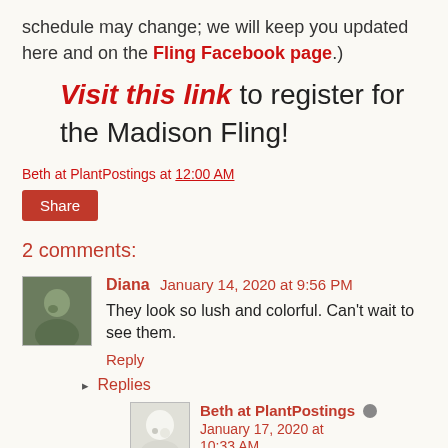schedule may change; we will keep you updated here and on the Fling Facebook page.)
Visit this link to register for the Madison Fling!
Beth at PlantPostings at 12:00 AM
Share
2 comments:
Diana January 14, 2020 at 9:56 PM
They look so lush and colorful. Can't wait to see them.
Reply
Replies
Beth at PlantPostings January 17, 2020 at 10:33 AM